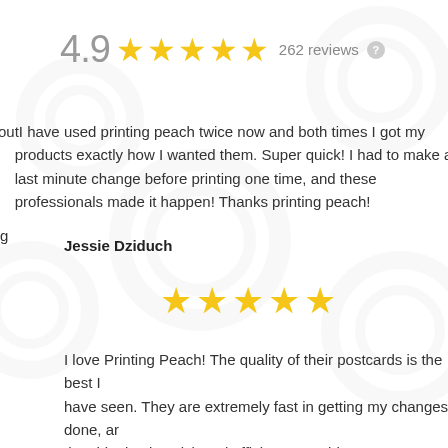4.9 ★★★★★ 262 reviews
outI have used printing peach twice now and both times I got my products exactly how I wanted them. Super quick! I had to make a last minute change before printing one time, and these professionals made it happen! Thanks printing peach!
Jessie Dziduch
[Figure (other): Five gold stars rating]
I love Printing Peach! The quality of their postcards is the best I have seen. They are extremely fast in getting my changes done, and the shipping is quick and efficient. I would HIGHLY recommend this company for all of your printing needs.